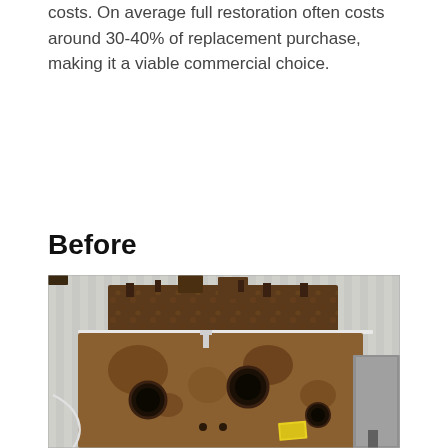costs. On average full restoration often costs around 30-40% of replacement purchase, making it a viable commercial choice.
Before
[Figure (photo): A heavily rusted industrial metal component (appears to be a tank or housing) sitting on a metal workbench, with circular ports/holes visible and corrosion across the surface, photographed before restoration.]